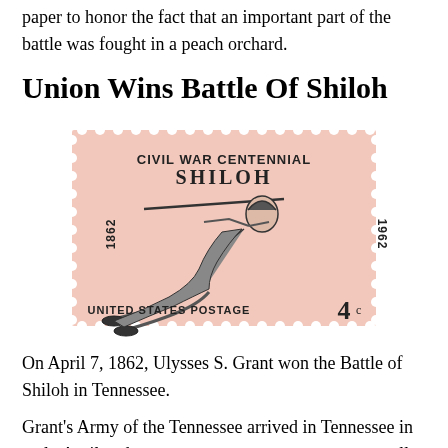paper to honor the fact that an important part of the battle was fought in a peach orchard.
Union Wins Battle Of Shiloh
[Figure (illustration): A U.S. postage stamp for the Civil War Centennial commemorating the Battle of Shiloh. The stamp shows a soldier lying prone and aiming a rifle. Text reads: CIVIL WAR CENTENNIAL, SHILOH, 1862, 1962, UNITED STATES POSTAGE, 4 cents. The stamp has a pink/salmon background with perforated edges.]
On April 7, 1862, Ulysses S. Grant won the Battle of Shiloh in Tennessee.
Grant's Army of the Tennessee arrived in Tennessee in early April and set up temporary quarters near a small log church named Shiloh, which is a Hebrew word meaning